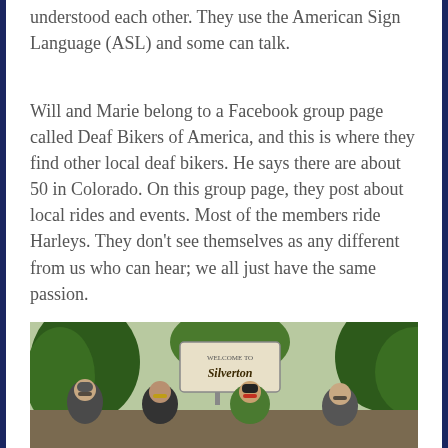understood each other. They use the American Sign Language (ASL) and some can talk.
Will and Marie belong to a Facebook group page called Deaf Bikers of America, and this is where they find other local deaf bikers. He says there are about 50 in Colorado. On this group page, they post about local rides and events. Most of the members ride Harleys. They don't see themselves as any different from us who can hear; we all just have the same passion.
[Figure (photo): Four men standing in front of a welcome sign, outdoors among trees. They are wearing biker gear and sunglasses.]